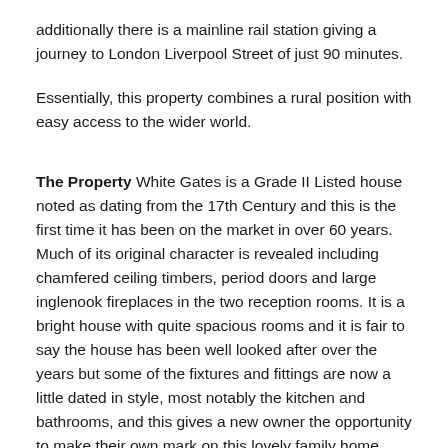additionally there is a mainline rail station giving a journey to London Liverpool Street of just 90 minutes.
Essentially, this property combines a rural position with easy access to the wider world.
The Property White Gates is a Grade II Listed house noted as dating from the 17th Century and this is the first time it has been on the market in over 60 years. Much of its original character is revealed including chamfered ceiling timbers, period doors and large inglenook fireplaces in the two reception rooms. It is a bright house with quite spacious rooms and it is fair to say the house has been well looked after over the years but some of the fixtures and fittings are now a little dated in style, most notably the kitchen and bathrooms, and this gives a new owner the opportunity to make their own mark on this lovely family home.